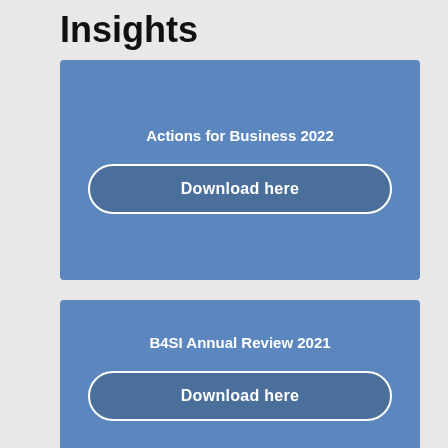Insights
[Figure (other): Blue card with title 'Actions for Business 2022' and a 'Download here' button]
[Figure (other): Blue card with title 'B4SI Annual Review 2021' and a 'Download here' button]